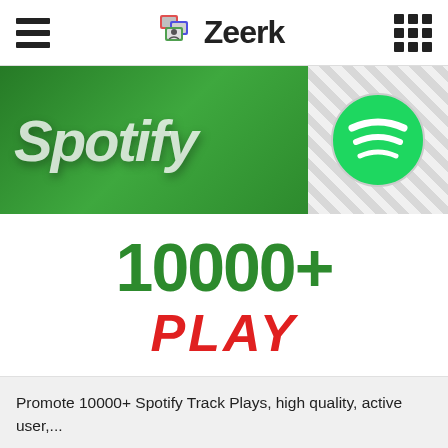Zeerk
[Figure (illustration): Spotify promotional image showing 10000+ plays with green Spotify branding on left and Spotify logo on right]
Promote 10000+ Spotify Track Plays, high quality, active user,...
smanasim
★ 0 (0)
FIXED RATE
14.00 USD
Last seen: 1 day ago